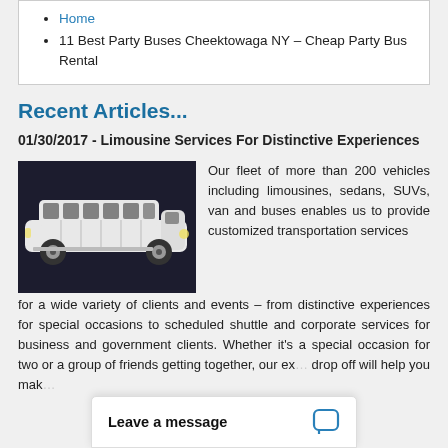Home
11 Best Party Buses Cheektowaga NY – Cheap Party Bus Rental
Recent Articles...
01/30/2017 - Limousine Services For Distinctive Experiences
[Figure (photo): White stretch Hummer limousine SUV on dark background]
Our fleet of more than 200 vehicles including limousines, sedans, SUVs, van and buses enables us to provide customized transportation services for a wide variety of clients and events – from distinctive experiences for special occasions to scheduled shuttle and corporate services for business and government clients. Whether it's a special occasion for two or a group of friends getting together, our ex... drop off will help you mak...
Leave a message